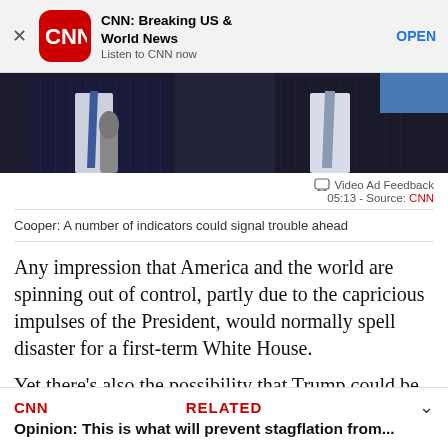[Figure (screenshot): CNN app banner with red CNN icon, title 'CNN: Breaking US & World News', subtitle 'Listen to CNN now', and OPEN button]
[Figure (photo): Cropped photo showing two men in dark suits with white shirts and ties, with microphones in foreground]
Video Ad Feedback
05:13 - Source: CNN
Cooper: A number of indicators could signal trouble ahead
Any impression that America and the world are spinning out of control, partly due to the capricious impulses of the President, would normally spell disaster for a first-term White House.
Yet there's also the possibility that Trump could be
[Figure (screenshot): CNN related article bar at bottom: CNN logo, RELATED label, chevron, and headline 'Opinion: This is what will prevent stagflation from...']